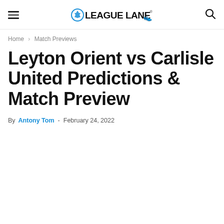LeagueLane logo, hamburger menu, search icon
Home › Match Previews
Leyton Orient vs Carlisle United Predictions & Match Preview
By Antony Tom - February 24, 2022